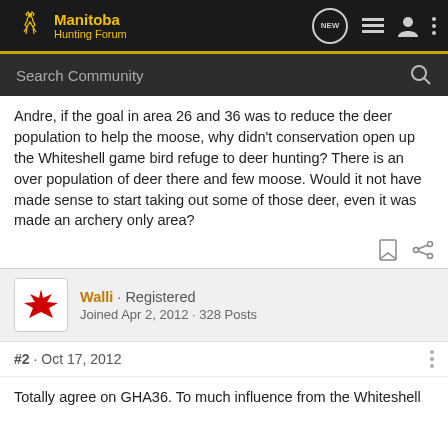Manitoba Hunting Forum
Andre, if the goal in area 26 and 36 was to reduce the deer population to help the moose, why didn't conservation open up the Whiteshell game bird refuge to deer hunting? There is an over population of deer there and few moose. Would it not have made sense to start taking out some of those deer, even it was made an archery only area?
Walli · Registered
Joined Apr 2, 2012 · 328 Posts
#2 · Oct 17, 2012
Totally agree on GHA36. To much influence from the Whiteshell